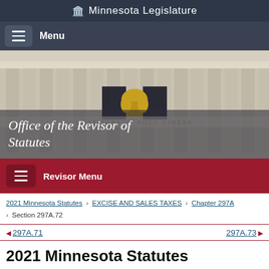Minnesota Legislature
Menu
[Figure (photo): Minnesota State Capitol building facade with classical columns and gold statuary, with overlay text 'Office of the Revisor of Statutes']
Office of the Revisor of Statutes
Revisor Menu
2021 Minnesota Statutes > EXCISE AND SALES TAXES > Chapter 297A > Section 297A.72
297A.71   297A.73
2021 Minnesota Statutes